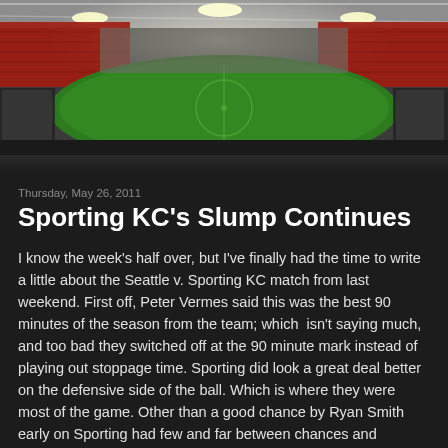[Figure (photo): Wide-angle panoramic view of a large illuminated football/soccer stadium at night, with bright floodlights, green pitch, and packed red-and-white stands visible.]
Thursday, May 26, 2011
Sporting KC's Slump Continues
I know the week's half over, but I've finally had the time to write a little about the Seattle v. Sporting KC match from last weekend. First off, Peter Vermes said this was the best 90 minutes of the season from the team; which  isn't saying much, and too bad they switched off at the 90 minute mark instead of playing out stoppage time. Sporting did look a great deal better on the defensive side of the ball. Which is where they were most of the game. Other than a good chance by Ryan Smith early on Sporting had few and far between chances and attacks. It was nice to see nine and